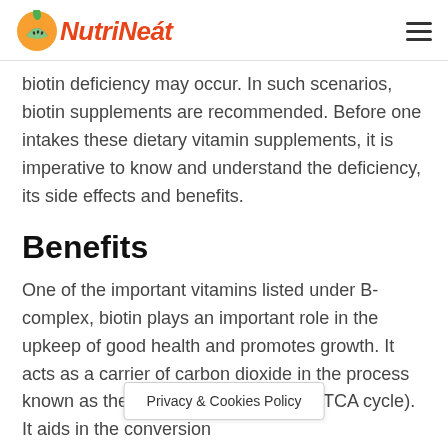NutriNeat
biotin deficiency may occur. In such scenarios, biotin supplements are recommended. Before one intakes these dietary vitamin supplements, it is imperative to know and understand the deficiency, its side effects and benefits.
Benefits
One of the important vitamins listed under B-complex, biotin plays an important role in the upkeep of good health and promotes growth. It acts as a carrier of carbon dioxide in the process known as the tricarboxylic acid cycle (TCA cycle). It aids in the conversion of fats, carbohydrates and proteins into
Privacy & Cookies Policy